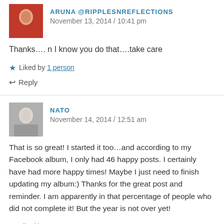ARUNA @RIPPLESNREFLECTIONS
November 13, 2014 / 10:41 pm
Thanks….n I know you do that….take care
Liked by 1 person
Reply
NATO
November 14, 2014 / 12:51 am
That is so great! I started it too…and according to my Facebook album, I only had 46 happy posts. I certainly have had more happy times! Maybe I just need to finish updating my album:) Thanks for the great post and reminder. I am apparently in that percentage of people who did not complete it! But the year is not over yet!
Liked by 1 person